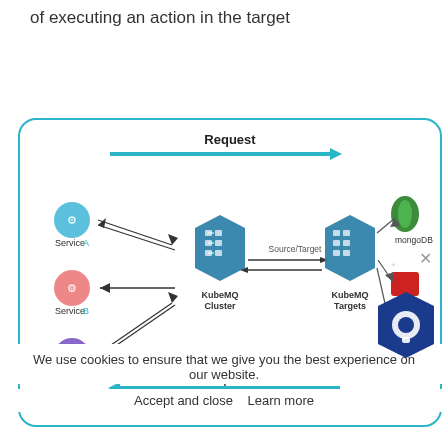of executing an action in the target
[Figure (flowchart): Architecture diagram showing KubeMQ Cluster and KubeMQ Targets connected via Source/Target bidirectional arrows. Services A, B, C connect to KubeMQ Cluster with arrows. KubeMQ Targets connects to mongoDB, redis, and PostgreSQL. A Request arrow flows left to right at the top, and a Response arrow flows right to left at the bottom.]
We use cookies to ensure that we give you the best experience on our website.
Accept and close   Learn more